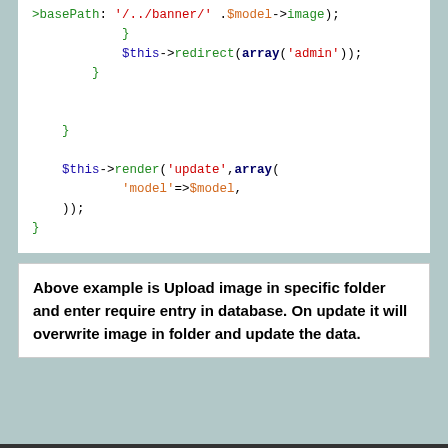>basePath: '/../banner/' .$model->image);
            }
            $this->redirect(array('admin'));
        }


    }

    $this->render('update',array(
            'model'=>$model,
    ));
}
Above example is Upload image in specific folder and enter require entry in database. On update it will overwrite image in folder and update the data.